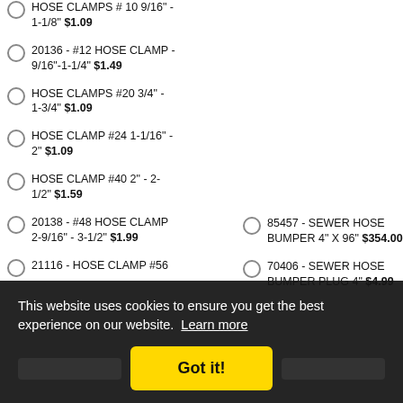HOSE CLAMPS # 10 9/16" - 1-1/8" $1.09
20136 - #12 HOSE CLAMP - 9/16"-1-1/4" $1.49
HOSE CLAMPS #20 3/4" - 1-3/4" $1.09
HOSE CLAMP #24 1-1/16" - 2" $1.09
HOSE CLAMP #40 2" - 2-1/2" $1.59
20138 - #48 HOSE CLAMP 2-9/16" - 3-1/2" $1.99
21116 - HOSE CLAMP #56
85457 - SEWER HOSE BUMPER 4" X 96" $354.00
70406 - SEWER HOSE BUMPER PLUG 4" $4.99
This website uses cookies to ensure you get the best experience on our website. Learn more
Got it!